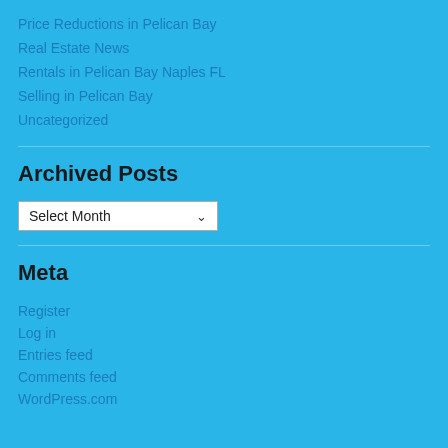Price Reductions in Pelican Bay
Real Estate News
Rentals in Pelican Bay Naples FL
Selling in Pelican Bay
Uncategorized
Archived Posts
Select Month
Meta
Register
Log in
Entries feed
Comments feed
WordPress.com